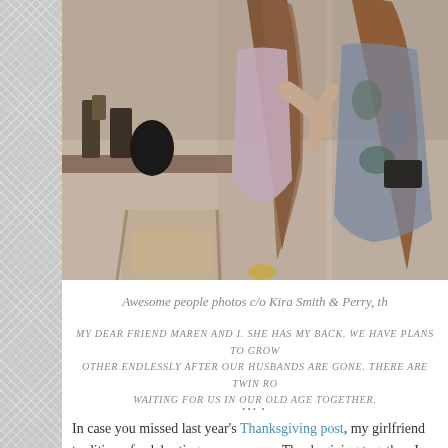[Figure (photo): Two women posing together indoors. The woman on the left wears a light purple/mauve dress and has long brown hair. The woman on the right wears a floral/patterned dress and holds a dark clutch purse. Background shows a counter with bottles and decor items.]
Awesome people photos c/o Kira Smith & Perry, th...
MY DEAR FRIEND MAREN AND I. SHE HAS MY BACK. WE HAVE PLANS TO GROW OTHER ENDLESSLY AFTER OUR HUSBANDS ARE GONE. THERE ARE TWIN RO... WAITING FOR US IN OUR OLD AGE TOGETHER...
....
In case you missed last year's Thanksgiving post, my girlfriend... tradition of celebrating our very own Thanksgiving together. I...